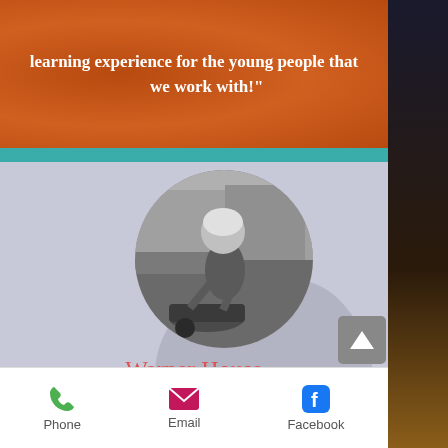learning experience for the young people that we work with!"
[Figure (photo): Circular black-and-white photo of a person shoveling or working with a wheelbarrow in a garden setting]
Warner House
"Dedicated Garden Club members work at the Historic Warner House to keep the gardens beautiful even during these challenging times. We appreciate the grants we have received in the past from the
Phone   Email   Facebook